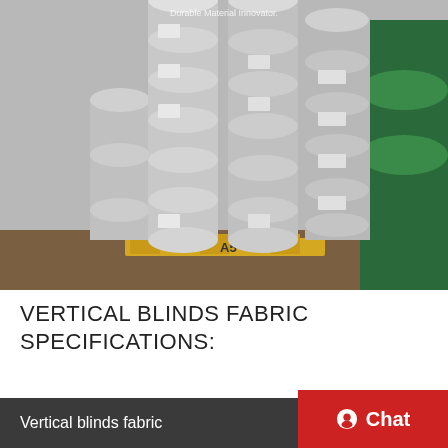[Figure (photo): Stacked rolls of grey vertical blind fabric on a yellow wooden pallet in a warehouse. Rolls are cylindrical, white/grey, stacked in columns. A watermark reads 'Durable Material Innovator.' visible near the top center.]
VERTICAL BLINDS FABRIC SPECIFICATIONS:
Vertical blinds fabric
Chat